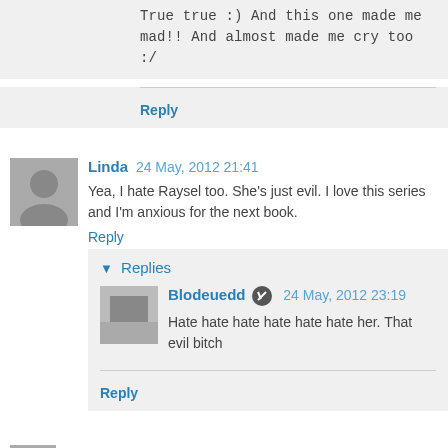True true :) And this one made me mad!! And almost made me cry too :/
Reply
Linda 24 May, 2012 21:41
Yea, I hate Raysel too. She's just evil. I love this series and I'm anxious for the next book.
Reply
Replies
Blodeuedd 24 May, 2012 23:19
Hate hate hate hate hate hate her. That evil bitch
Reply